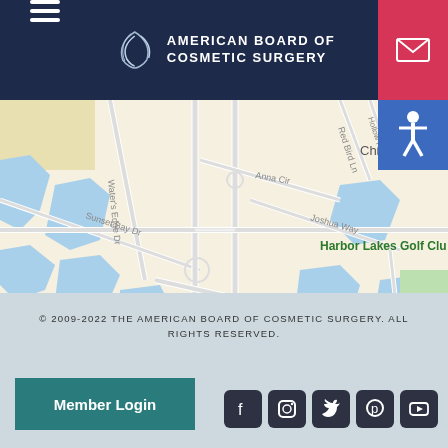American Board of Cosmetic Surgery
[Figure (map): Google Maps street map showing area around Harbor Lakes Golf Club, with streets including Sunset Bay Dr, Water's Edge Dr, Anna Cir, Joshua Way, Red Bird Ln, Hollow Rd, Meadowlark Ln, and Marina Bay Blvd. Blue waterways visible throughout.]
© 2009-2022 THE AMERICAN BOARD OF COSMETIC SURGERY. ALL RIGHTS RESERVED.
Member Login
[Figure (other): Social media icons: Facebook, Instagram, Twitter, Pinterest, YouTube]